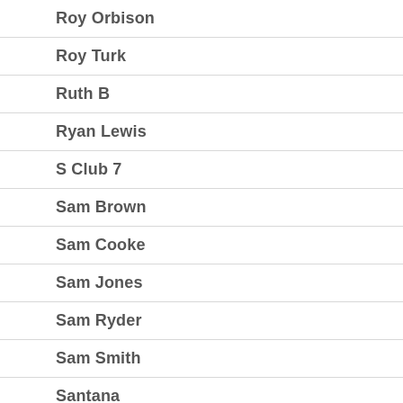Roy Orbison
Roy Turk
Ruth B
Ryan Lewis
S Club 7
Sam Brown
Sam Cooke
Sam Jones
Sam Ryder
Sam Smith
Santana
Sara Bareilles